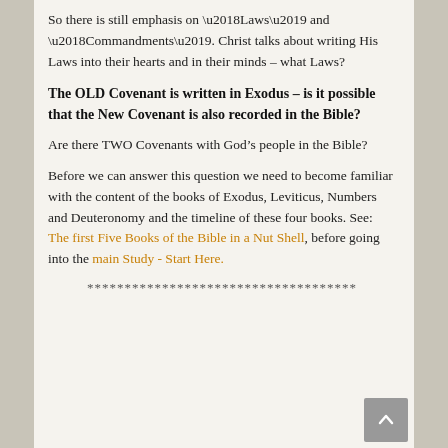So there is still emphasis on ‘Laws’ and ‘Commandments’. Christ talks about writing His Laws into their hearts and in their minds – what Laws?
The OLD Covenant is written in Exodus – is it possible that the New Covenant is also recorded in the Bible?
Are there TWO Covenants with God’s people in the Bible?
Before we can answer this question we need to become familiar with the content of the books of Exodus, Leviticus, Numbers and Deuteronomy and the timeline of these four books. See: The first Five Books of the Bible in a Nut Shell, before going into the main Study - Start Here.
************************************